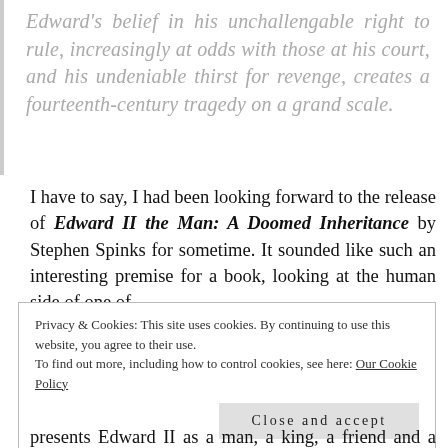Edward's belief in his unchallengable right to rule, increasingly at odds with those at his court, and his undeniable thirst for revenge, creates a fourteenth-century tragedy on a grand scale.
I have to say, I had been looking forward to the release of Edward II the Man: A Doomed Inheritance by Stephen Spinks for sometime. It sounded like such an interesting premise for a book, looking at the human side of one of
Privacy & Cookies: This site uses cookies. By continuing to use this website, you agree to their use.
To find out more, including how to control cookies, see here: Our Cookie Policy
Close and accept
presents Edward II as a man, a king, a friend and a lover.